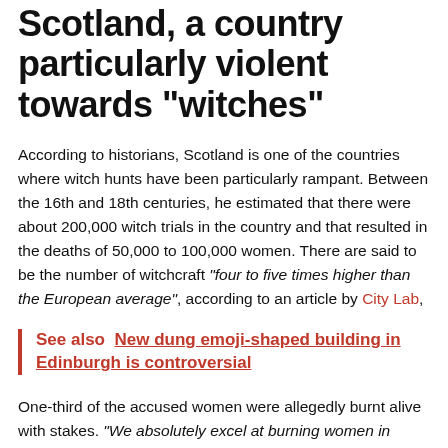Scotland, a country particularly violent towards “witches”
According to historians, Scotland is one of the countries where witch hunts have been particularly rampant. Between the 16th and 18th centuries, he estimated that there were about 200,000 witch trials in the country and that resulted in the deaths of 50,000 to 100,000 women. There are said to be the number of witchcraft “four to five times higher than the European average”, according to an article by City Lab,
See also  New dung emoji-shaped building in Edinburgh is controversial
One-third of the accused women were allegedly burnt alive with stakes. “We absolutely excel at burning women in Scotland. The accusations are so great, it’s that they should be